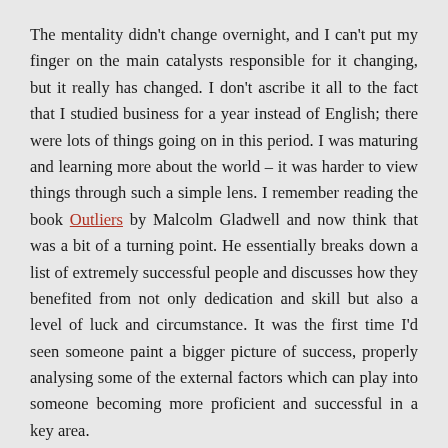The mentality didn't change overnight, and I can't put my finger on the main catalysts responsible for it changing, but it really has changed. I don't ascribe it all to the fact that I studied business for a year instead of English; there were lots of things going on in this period. I was maturing and learning more about the world – it was harder to view things through such a simple lens. I remember reading the book Outliers by Malcolm Gladwell and now think that was a bit of a turning point. He essentially breaks down a list of extremely successful people and discusses how they benefited from not only dedication and skill but also a level of luck and circumstance. It was the first time I'd seen someone paint a bigger picture of success, properly analysing some of the external factors which can play into someone becoming more proficient and successful in a key area.
It is incredibly empowering to believe that you can do anything if you put your mind to it. I don't mean that in the cliche way that teachers or parents would use it. I simply mean that you can 'do' something, persevere through the tough stages, and build upon the foundation to a level of proficiency that is better than you would have started at. Early on is usually where you see the biggest improvement in a skill if you stick with it, in fact, so this stage is where you usually see the biggest